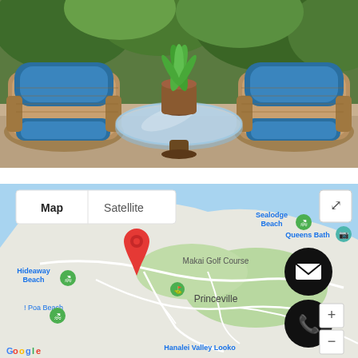[Figure (photo): Outdoor wicker furniture set with blue cushions and a round glass table with a potted tropical plant in the center, green foliage in background]
[Figure (screenshot): Google Maps screenshot showing Princeville area on Kauai, Hawaii. Shows Map/Satellite toggle buttons, locations labeled: Queens Bath, Sealodge Beach, Hideaway Beach, Poa Beach, Makai Golf Course, Princeville, Hanalei Valley Lookout. A red map pin marks a location near Makai Golf Course. Two black circular contact buttons (email envelope and phone) appear on the right side. Google logo visible bottom left. Expand icon top right.]